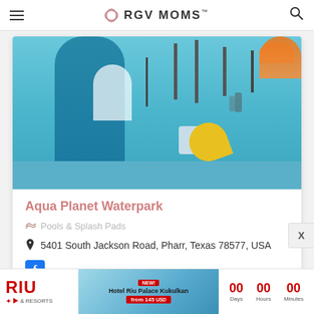RGV MOMS
[Figure (photo): Outdoor waterpark with blue splash pad area, decorative character figures, yellow slide, and orange umbrella in background.]
Aqua Planet Waterpark
Pools & Splash Pads
5401 South Jackson Road, Pharr, Texas 78577, USA
[Figure (logo): Facebook icon (blue square with white f)]
[Figure (infographic): RIU Hotels & Resorts advertisement banner featuring Hotel Riu Palace Kukulkan with countdown showing 00 Days, 00 Hours, 00 Minutes]